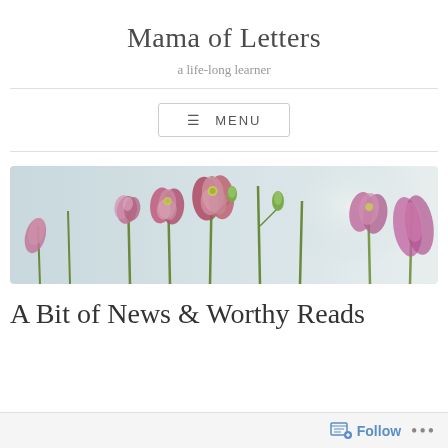Mama of Letters
a life-long learner
≡ MENU
[Figure (photo): Close-up photograph of pink and purple columbine flowers with green stems and buds against a soft light blue-grey background]
A Bit of News & Worthy Reads
Follow ...